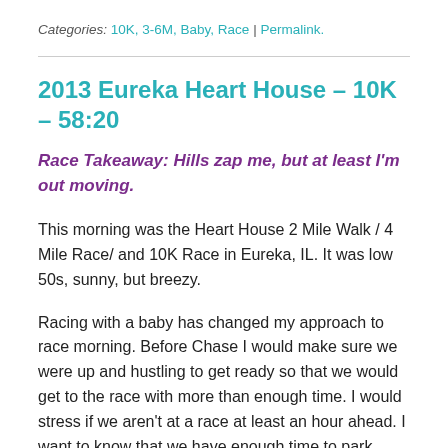Categories: 10K, 3-6M, Baby, Race | Permalink.
2013 Eureka Heart House – 10K – 58:20
Race Takeaway: Hills zap me, but at least I'm out moving.
This morning was the Heart House 2 Mile Walk / 4 Mile Race/ and 10K Race in Eureka, IL. It was low 50s, sunny, but breezy.
Racing with a baby has changed my approach to race morning. Before Chase I would make sure we were up and hustling to get ready so that we would get to the race with more than enough time. I would stress if we aren't at a race at least an hour ahead. I want to know that we have enough time to park, register or pick up our packet, get extra warm up in, affix the race number, use restrooms, and do a